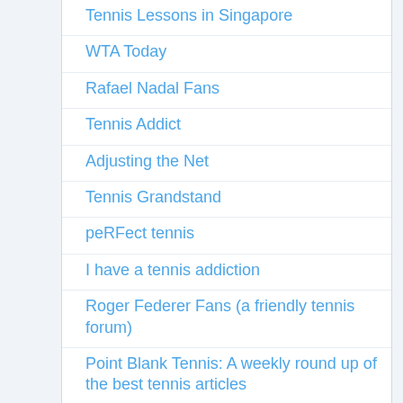Tennis Lessons in Singapore
WTA Today
Rafael Nadal Fans
Tennis Addict
Adjusting the Net
Tennis Grandstand
peRFect tennis
I have a tennis addiction
Roger Federer Fans (a friendly tennis forum)
Point Blank Tennis: A weekly round up of the best tennis articles